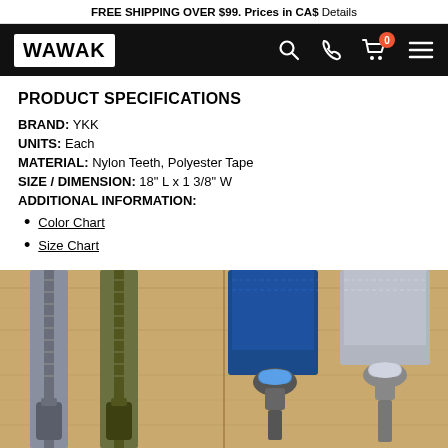FREE SHIPPING OVER $99. Prices in CA$ Details
[Figure (screenshot): WAWAK website navigation bar with logo, search, phone, cart (0), and menu icons on black background]
PRODUCT SPECIFICATIONS
BRAND: YKK
UNITS: Each
MATERIAL: Nylon Teeth, Polyester Tape
SIZE / DIMENSION: 18" L x 1 3/8" W
ADDITIONAL INFORMATION:
Color Chart
Size Chart
[Figure (photo): Product photo showing four zippers laid on a wooden surface: two closed zippers (gray and olive green) on the left, and two zipper pull ends (blue and light gray) on the right.]